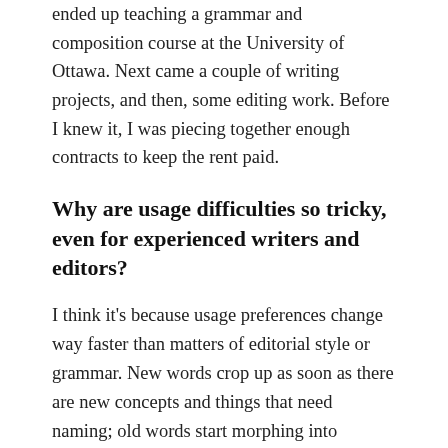ended up teaching a grammar and composition course at the University of Ottawa. Next came a couple of writing projects, and then, some editing work. Before I knew it, I was piecing together enough contracts to keep the rent paid.
Why are usage difficulties so tricky, even for experienced writers and editors?
I think it's because usage preferences change way faster than matters of editorial style or grammar. New words crop up as soon as there are new concepts and things that need naming; old words start morphing into different parts of speech or even take on new meanings; and we language people are always bringing up the rear, wondering whether it's time to accept the new usages or whether we should keep shunning them. To complicate matters, for those of us who work with different levels of language—different registers, as translators would put it—